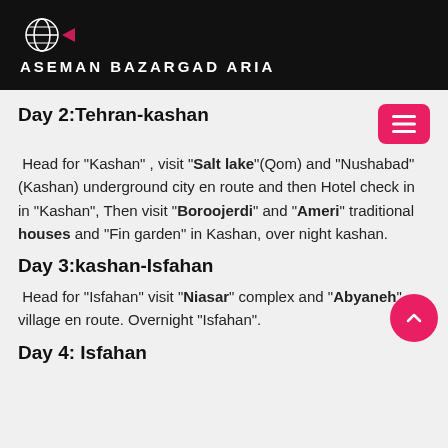ASEMAN BAZARGAD ARIA
Day 2:Tehran-kashan
Head for "Kashan" , visit "Salt lake"(Qom) and "Nushabad"(Kashan) underground city en route and then Hotel check in in "Kashan", Then visit "Boroojerdi" and "Ameri" traditional houses and "Fin garden" in Kashan, over night kashan.
Day 3:kashan-Isfahan
Head for "Isfahan" visit "Niasar" complex and "Abyaneh" village en route. Overnight "Isfahan".
Day 4: Isfahan